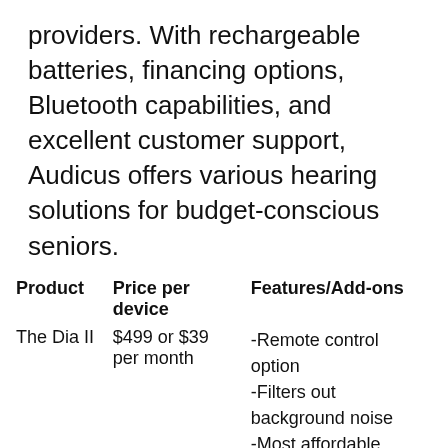providers. With rechargeable batteries, financing options, Bluetooth capabilities, and excellent customer support, Audicus offers various hearing solutions for budget-conscious seniors.
| Product | Price per device | Features/Add-ons |
| --- | --- | --- |
| The Dia II | $499 or $39 per month | -Remote control option
-Filters out background noise
-Most affordable |
| The Clara | $699 or $49 per month | -Rechargeable battery option
-Enhanced clarity option
-Remote control options
-Most customizable
-Compatible with a smartphone app |